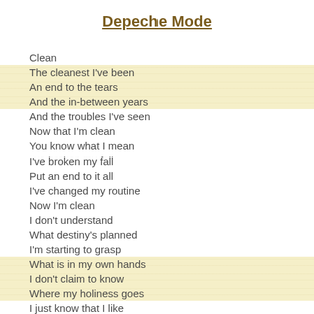Depeche Mode
Clean
The cleanest I've been
An end to the tears
And the in-between years
And the troubles I've seen
Now that I'm clean
You know what I mean
I've broken my fall
Put an end to it all
I've changed my routine
Now I'm clean
I don't understand
What destiny's planned
I'm starting to grasp
What is in my own hands
I don't claim to know
Where my holiness goes
I just know that I like